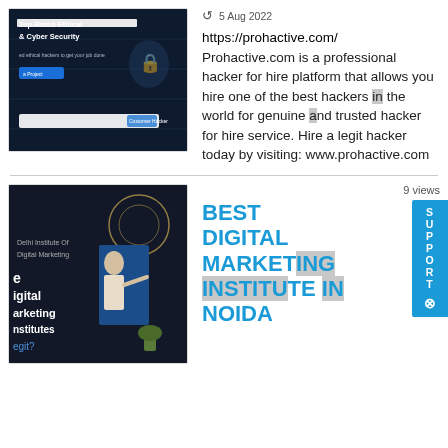[Figure (screenshot): Screenshot of prohactive.com website showing 'Top-Rated Ethical & Cyber Security' text with dark background]
5 Aug 2022
https://prohactive.com/ Prohactive.com is a professional hacker for hire platform that allows you hire one of the best hackers in the world for genuine and trusted hacker for hire service. Hire a legit hacker today by visiting: www.prohactive.com
[Figure (screenshot): Screenshot showing digital marketing institute content with a woman pointing at a board, text reads 'digital marketing institutes legit?']
9 views
BEST DIGITAL MARKETING INSTITUTE IN NOIDA